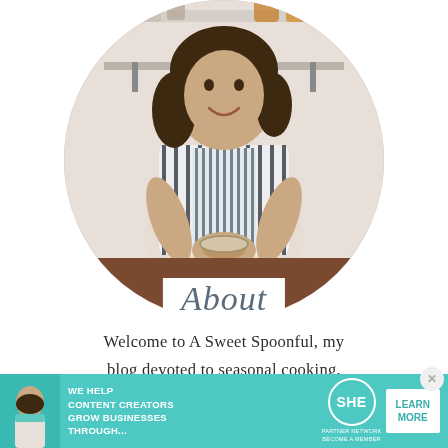[Figure (photo): Circular portrait photo of a smiling woman with curly dark hair wearing a striped shirt and striped apron, holding a bowl, standing in a kitchen with shelves of jars behind her.]
About
Welcome to A Sweet Spoonful, my blog devoted to seasonal cooking, whole grain baking, and casual gatherings in our Pacific Northwest
[Figure (infographic): Teal advertisement banner for SHE Media Partner Network reading: WE HELP CONTENT CREATORS GROW BUSINESSES THROUGH... with SHE logo and LEARN MORE button.]